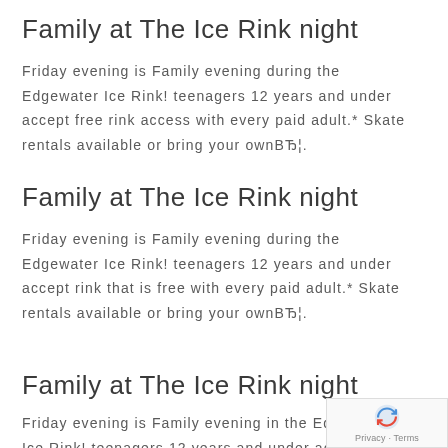Family at The Ice Rink night
Friday evening is Family evening during the Edgewater Ice Rink! teenagers 12 years and under accept free rink access with every paid adult.* Skate rentals available or bring your ownВЂ¦.
Family at The Ice Rink night
Friday evening is Family evening during the Edgewater Ice Rink! teenagers 12 years and under accept rink that is free with every paid adult.* Skate rentals available or bring your ownВЂ¦.
Family at The Ice Rink night
Friday evening is Family evening in the Edgewater Ice Rink! teenagers 12 years and under accept rink